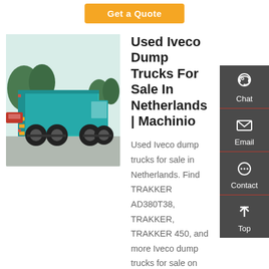[Figure (other): Orange 'Get a Quote' button at the top center of the page]
[Figure (photo): Photo of a teal/turquoise Iveco dump truck viewed from the rear-left side, parked in a yard with trees and other vehicles in the background.]
Used Iveco Dump Trucks For Sale In Netherlands | Machinio
Used Iveco dump trucks for sale in Netherlands. Find TRAKKER AD380T38, TRAKKER, TRAKKER 450, and more Iveco dump trucks for sale on Machinio. NEW/UNUSED tipper truck, 4x2, Euro 5, AdBlue, Diff. lock, Steel suspension, Manual gearbox (8 gears), Cantoni steel